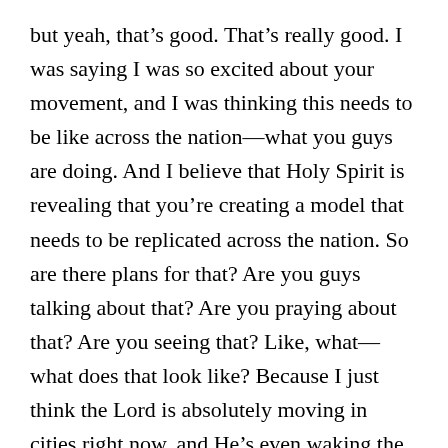but yeah, that's good. That's really good. I was saying I was so excited about your movement, and I was thinking this needs to be like across the nation—what you guys are doing. And I believe that Holy Spirit is revealing that you're creating a model that needs to be replicated across the nation. So are there plans for that? Are you guys talking about that? Are you praying about that? Are you seeing that? Like, what—what does that look like? Because I just think the Lord is absolutely moving in cities right now, and He's even waking the church up to transforming cities across the nation. It's so obvious the last couple of years. And so that's what I see. And I know even in Sacramento, God's doing amazing things in this city and waking people up to this city. There's a lot of models. I feel like He is creating models here too. But